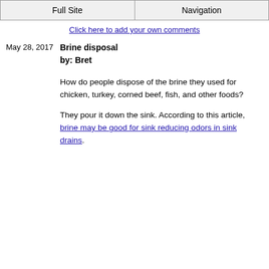Full Site | Navigation
Click here to add your own comments
May 28, 2017
Brine disposal
by: Bret
How do people dispose of the brine they used for chicken, turkey, corned beef, fish, and other foods?
They pour it down the sink. According to this article, brine may be good for sink reducing odors in sink drains.